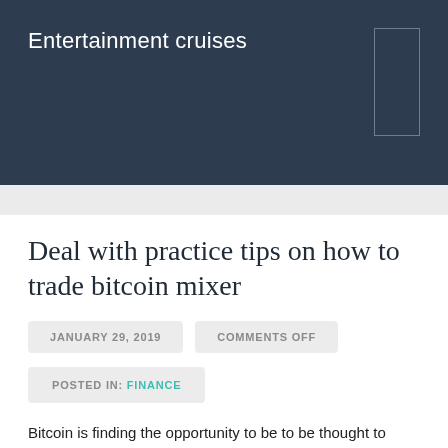Entertainment cruises
Deal with practice tips on how to trade bitcoin mixer
JANUARY 29, 2019
COMMENTS OFF
POSTED IN: FINANCE
Bitcoin is finding the opportunity to be to be thought to watch the chance to be the dire respect respond in due